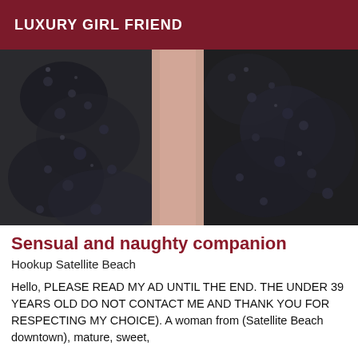LUXURY GIRL FRIEND
[Figure (photo): Close-up photo of a person wearing black lace lingerie, showing torso area against a dark background. The image is cropped and only shows the clothing/body from mid-torso.]
Sensual and naughty companion
Hookup Satellite Beach
Hello, PLEASE READ MY AD UNTIL THE END. THE UNDER 39 YEARS OLD DO NOT CONTACT ME AND THANK YOU FOR RESPECTING MY CHOICE). A woman from (Satellite Beach downtown), mature, sweet, ...